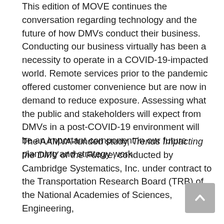This edition of MOVE continues the conversation regarding technology and the future of how DMVs conduct their business. Conducting our business virtually has been a necessity to operate in a COVID-19-impacted world. Remote services prior to the pandemic offered customer convenience but are now in demand to reduce exposure. Assessing what the public and stakeholders will expect from DMVs in a post-COVID-19 environment will be an important component in our future planning and strategy work.
The AAMVA-funded study, Trends Impacting the DMV of the Future, conducted by Cambridge Systematics, Inc. under contract to the Transportation Research Board (TRB) of the National Academies of Sciences, Engineering,